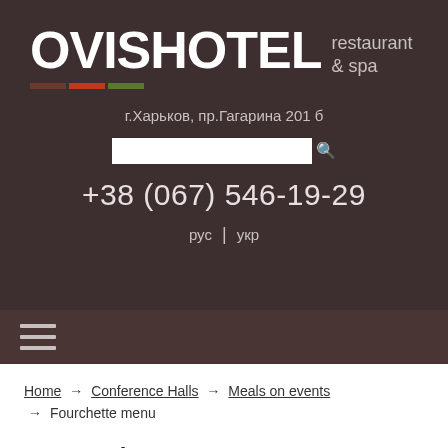[Figure (logo): OVISHOTEL restaurant & spa logo with colored bar segments (brown, orange, green) on dark brown background]
г.Харьков, пр.Гагарина 201 б
+38 (067) 546-19-29
рус | укр
Home → Conference Halls → Meals on events → Fourchette menu
Fourchette menu